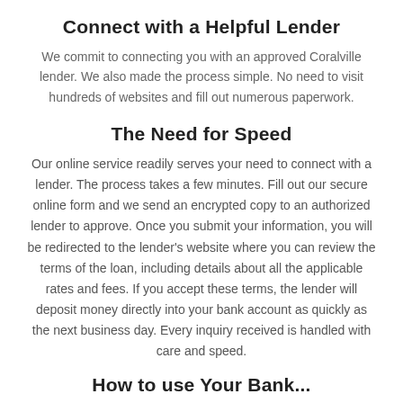Connect with a Helpful Lender
We commit to connecting you with an approved Coralville lender. We also made the process simple. No need to visit hundreds of websites and fill out numerous paperwork.
The Need for Speed
Our online service readily serves your need to connect with a lender. The process takes a few minutes. Fill out our secure online form and we send an encrypted copy to an authorized lender to approve. Once you submit your information, you will be redirected to the lender's website where you can review the terms of the loan, including details about all the applicable rates and fees. If you accept these terms, the lender will deposit money directly into your bank account as quickly as the next business day. Every inquiry received is handled with care and speed.
How to use Your Bank...